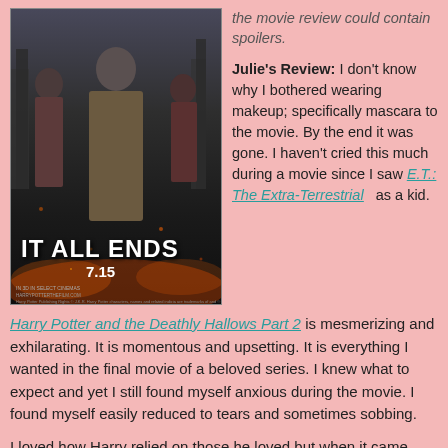[Figure (photo): Harry Potter and the Deathly Hallows Part 2 movie poster showing Harry, Hermione, and Ron with text 'IT ALL ENDS 7.15']
the movie review could contain spoilers.
Julie's Review: I don't know why I bothered wearing makeup; specifically mascara to the movie. By the end it was gone. I haven't cried this much during a movie since I saw E.T.: The Extra-Terrestrial as a kid.
Harry Potter and the Deathly Hallows Part 2 is mesmerizing and exhilarating. It is momentous and upsetting. It is everything I wanted in the final movie of a beloved series. I knew what to expect and yet I still found myself anxious during the movie. I found myself easily reduced to tears and sometimes sobbing.
I loved how Harry relied on those he loved but when it came down to it, he faced Voldemort on his own. He realized that it